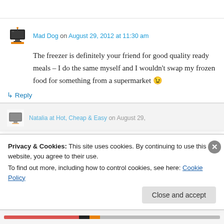Mad Dog on August 29, 2012 at 11:30 am
The freezer is definitely your friend for good quality ready meals – I do the same myself and I wouldn't swap my frozen food for something from a supermarket 😉
↳ Reply
Natalia at Hot, Cheap & Easy on August 29,
Privacy & Cookies: This site uses cookies. By continuing to use this website, you agree to their use.
To find out more, including how to control cookies, see here: Cookie Policy
Close and accept